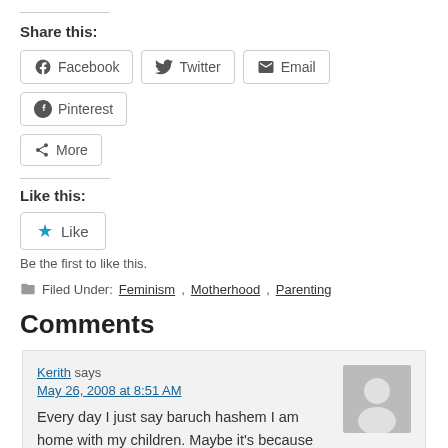Share this:
Facebook  Twitter  Email  Pinterest  More
Like this:
Like
Be the first to like this.
Filed Under: Feminism, Motherhood, Parenting
Comments
Kerith says
May 26, 2008 at 8:51 AM
Every day I just say baruch hashem I am home with my children. Maybe it's because I got married later and had 13 years as a full-time music teacher before raising a